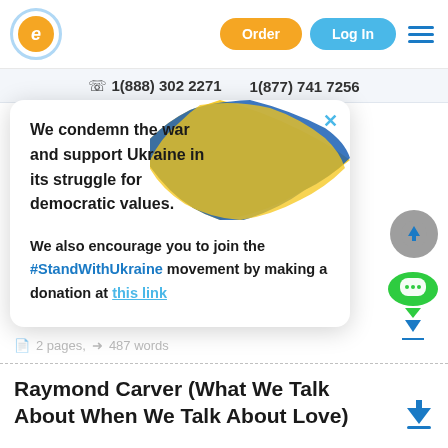[Figure (logo): Orange circle logo with stylized e letter and light blue border ring]
Order
Log In
1(888) 302 2271   1(877) 741 7256
4 pages,  871 words
We condemn the war and support Ukraine in its struggle for democratic values.

We also encourage you to join the #StandWithUkraine movement by making a donation at this link
2 pages,  487 words
Raymond Carver (What We Talk About When We Talk About Love)